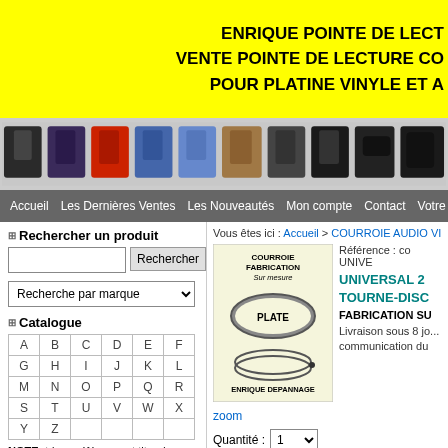ENRIQUE POINTE DE LECT...
VENTE POINTE DE LECTURE CO...
POUR PLATINE VINYLE ET A...
[Figure (photo): Strip of various phonograph needle/cartridge product images on gray background]
Accueil | Les Dernières Ventes | Les Nouveautés | Mon compte | Contact | Votre pan...
Rechercher un produit
Recherche par marque
Catalogue
| A | B | C | D | E | F |
| --- | --- | --- | --- | --- | --- |
| A | B | C | D | E | F |
| G | H | I | J | K | L |
| M | N | O | P | Q | R |
| S | T | U | V | W | X |
| Y | Z |  |  |  |  |
NOTE: tri par référence et titre des produits
Votre panier
Votre panier est vide actuellement, consultez le catalogue.
Vous êtes ici : Accueil > COURROIE AUDIO VIDE...
[Figure (photo): Product image of flat belt (courroie plate) for turntable, showing oval belt shape with labels: COURROIE FABRICATION Sur mesure, PLATE, ENRIQUE DEPANNAGE]
Référence : co UNIVE...
UNIVERSAL 2... TOURNE-DISC... FABRICATION SU... Livraison sous 8 jo... communication du...
zoom
Quantité : 1
Ajouter au caddie